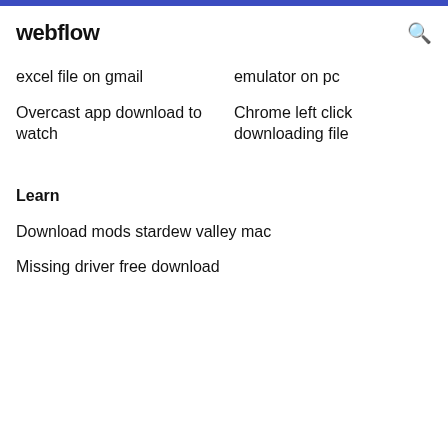webflow
excel file on gmail
emulator on pc
Overcast app download to watch
Chrome left click downloading file
Learn
Download mods stardew valley mac
Missing driver free download